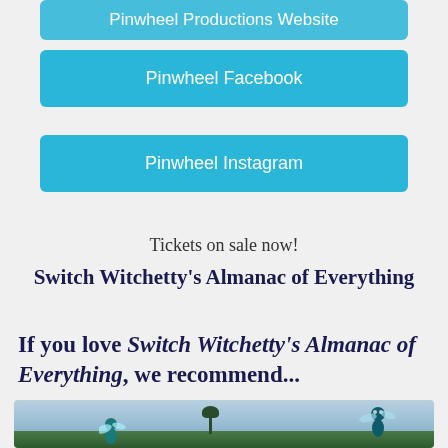Pinwheel Productions Website
Pinwheel Facebook
Pinwheel Instagram
Tickets on sale now!
Switch Witchetty's Almanac of Everything
If you love Switch Witchetty's Almanac of Everything, we recommend...
[Figure (photo): Outdoor photo showing a sky background with trees and illustrated bug/insect characters overlaid]